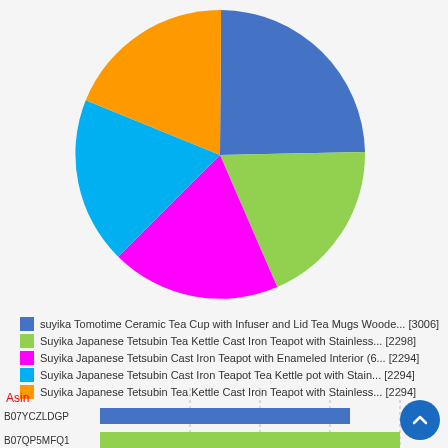[Figure (pie-chart): ]
[Figure (bar-chart): Asin]